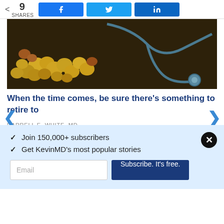9 SHARES
[Figure (photo): Coins scattered on a dark wooden surface with a stethoscope, representing healthcare costs and retirement savings]
When the time comes, be sure there's something to retire to
DARRELL E. WHITE, MD
[Figure (photo): American flag made of colorful pills/capsules in red, white, and blue colors]
✓  Join 150,000+ subscribers
✓  Get KevinMD's most popular stories
Email | Subscribe. It's free.